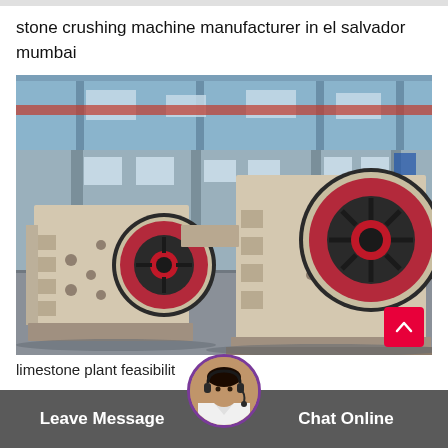stone crushing machine manufacturer in el salvador mumbai
[Figure (photo): Two large stone jaw crushers / stone crushing machines in an industrial factory setting. The machines are cream/beige colored with dark flywheel discs that have maroon/red rims. They are sitting on the factory floor with a large open industrial building visible in the background.]
limestone plant feasibilit
Leave Message   Chat Online